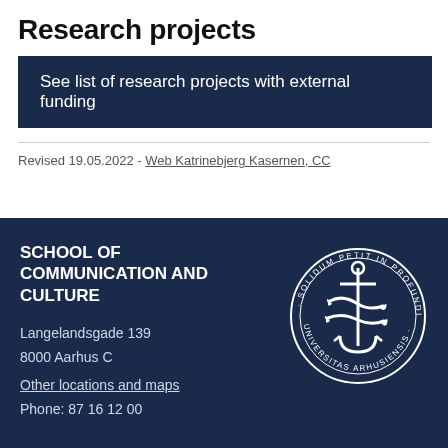Research projects
See list of research projects with external funding
Revised 19.05.2022 - Web Katrinebjerg Kasernen, CC
SCHOOL OF COMMUNICATION AND CULTURE
Langelandsgade 139
8000 Aarhus C
Other locations and maps
Phone: 87 16 12 00
[Figure (logo): Aarhus University circular seal logo with anchor and dolphins, Latin text 'SOLIDUM PETIT IN PROFUNDIS · UNIVERSITAS ARHUSIENSIS']